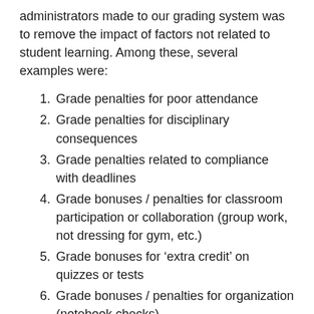administrators made to our grading system was to remove the impact of factors not related to student learning. Among these, several examples were:
Grade penalties for poor attendance
Grade penalties for disciplinary consequences
Grade penalties related to compliance with deadlines
Grade bonuses / penalties for classroom participation or collaboration (group work, not dressing for gym, etc.)
Grade bonuses for ‘extra credit’ on quizzes or tests
Grade bonuses / penalties for organization (notebook checks)
Grade bonuses / penalties for other non-academic activities (bonus points for bringing in food for Operation Feed, grade penalties for not